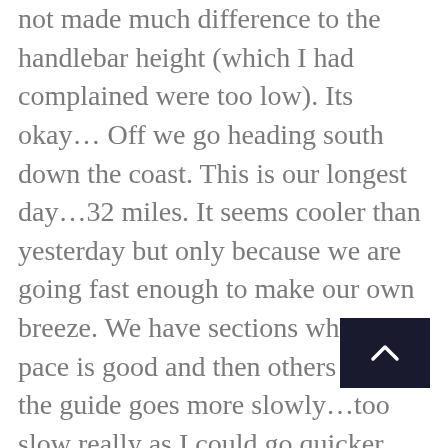not made much difference to the handlebar height (which I had complained were too low). Its okay… Off we go heading south down the coast. This is our longest day…32 miles. It seems cooler than yesterday but only because we are going fast enough to make our own breeze. We have sections where the pace is good and then others where the guide goes more slowly…too slow really as I could go quicker. The other single lady is the slow one and we have to keep her in touch. I am happy with my fitness though by the end of the day my bum was suffering a bit. All because handlebars too low….Its tropical, humid, and green. Traffic lessens and it is very pleasant. The road goes between the sea and a piece of fresh water. We head across to the inland side and end up in an hotel on the lakeside. Taking a bit of a walk with two others (Julie and Alistair), we find huge piles of emptied clam shells of all sizes